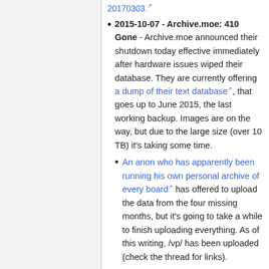20170303.
2015-10-07 - Archive.moe: 410 Gone - Archive.moe announced their shutdown today effective immediately after hardware issues wiped their database. They are currently offering a dump of their text database, that goes up to June 2015, the last working backup. Images are on the way, but due to the large size (over 10 TB) it's taking some time.
An anon who has apparently been running his own personal archive of every board has offered to upload the data from the four missing months, but it's going to take a while to finish uploading everything. As of this writing, /vp/ has been uploaded (check the thread for links).